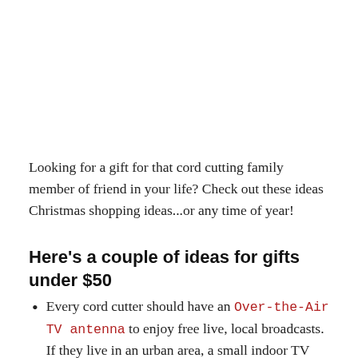Looking for a gift for that cord cutting family member of friend in your life? Check out these ideas Christmas shopping ideas...or any time of year!
Here's a couple of ideas for gifts under $50
Every cord cutter should have an Over-the-Air TV antenna to enjoy free live, local broadcasts. If they live in an urban area, a small indoor TV antenna will do. Those who live in the burbs will want a larger